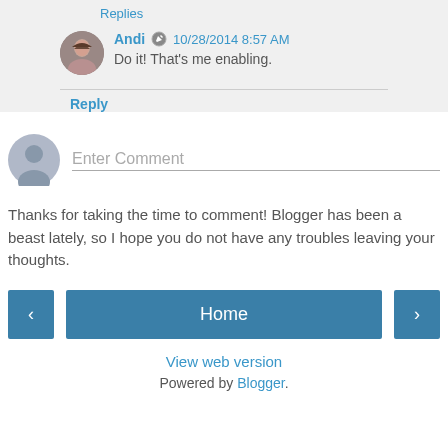Replies
Andi  10/28/2014 8:57 AM
Do it! That's me enabling.
Reply
Enter Comment
Thanks for taking the time to comment! Blogger has been a beast lately, so I hope you do not have any troubles leaving your thoughts.
Home
View web version
Powered by Blogger.